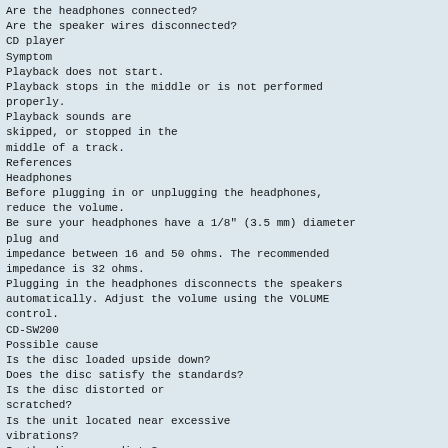Are the headphones connected?
Are the speaker wires disconnected?
CD player
Symptom
Playback does not start.
Playback stops in the middle or is not performed properly.
Playback sounds are skipped, or stopped in the middle of a track.
References
Headphones
Before plugging in or unplugging the headphones, reduce the volume.
Be sure your headphones have a 1/8" (3.5 mm) diameter plug and impedance between 16 and 50 ohms. The recommended impedance is 32 ohms.
Plugging in the headphones disconnects the speakers automatically. Adjust the volume using the VOLUME control.
CD-SW200
Possible cause
Is the disc loaded upside down?
Does the disc satisfy the standards?
Is the disc distorted or scratched?
Is the unit located near excessive vibrations?
Is the disc very dirty?
Has condensation formed inside the unit?
39